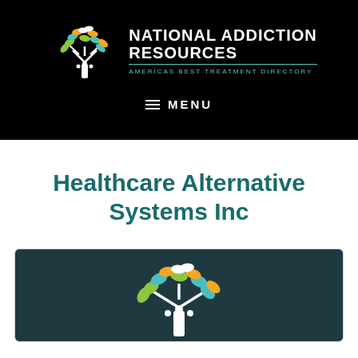[Figure (logo): National Addiction Resources logo with colorful tree and text: NATIONAL ADDICTION RESOURCES, AMERICAS BEST TREATMENT DIRECTORY]
MENU
Healthcare Alternative Systems Inc
[Figure (logo): National Addiction Resources tree logo on dark teal background, partial view]